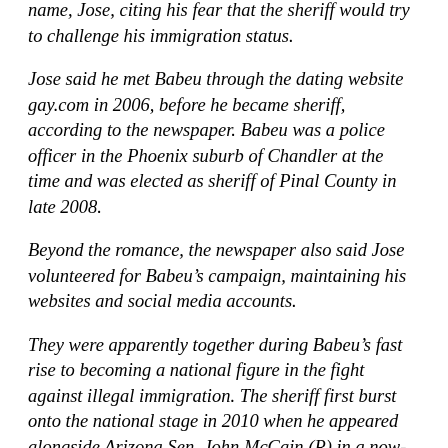name, Jose, citing his fear that the sheriff would try to challenge his immigration status.
Jose said he met Babeu through the dating website gay.com in 2006, before he became sheriff, according to the newspaper. Babeu was a police officer in the Phoenix suburb of Chandler at the time and was elected as sheriff of Pinal County in late 2008.
Beyond the romance, the newspaper also said Jose volunteered for Babeu’s campaign, maintaining his websites and social media accounts.
They were apparently together during Babeu’s fast rise to becoming a national figure in the fight against illegal immigration. The sheriff first burst onto the national stage in 2010 when he appeared alongside Arizona Sen. John McCain (R) in a now-famous television ad, calling on the